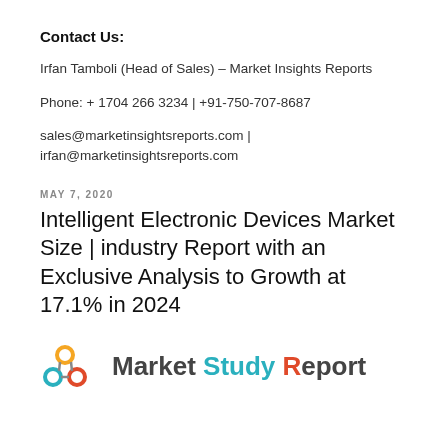Contact Us:
Irfan Tamboli (Head of Sales) – Market Insights Reports
Phone: + 1704 266 3234 | +91-750-707-8687
sales@marketinsightsreports.com |
irfan@marketinsightsreports.com
MAY 7, 2020
Intelligent Electronic Devices Market Size | industry Report with an Exclusive Analysis to Growth at 17.1% in 2024
[Figure (logo): Market Study Report logo with orange network/nodes icon, text 'Market Study Report' with 'Study' in teal and 'R' in orange-red]